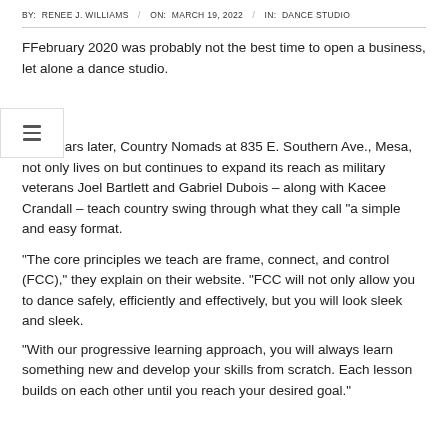BY: RENEE J. WILLIAMS / ON: MARCH 19, 2022 / IN: DANCE STUDIO
FFebruary 2020 was probably not the best time to open a business, let alone a dance studio.
Two years later, Country Nomads at 835 E. Southern Ave., Mesa, not only lives on but continues to expand its reach as military veterans Joel Bartlett and Gabriel Dubois – along with Kacee Crandall – teach country swing through what they call “a simple and easy format.
“The core principles we teach are frame, connect, and control (FCC),” they explain on their website. “FCC will not only allow you to dance safely, efficiently and effectively, but you will look sleek and sleek.
“With our progressive learning approach, you will always learn something new and develop your skills from scratch. Each lesson builds on each other until you reach your desired goal.”